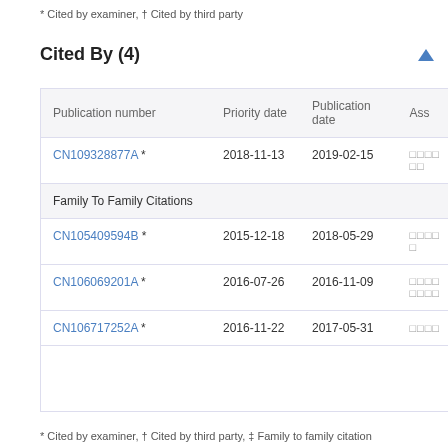* Cited by examiner, † Cited by third party
Cited By (4)
| Publication number | Priority date | Publication date | Ass |
| --- | --- | --- | --- |
| CN109328877A * | 2018-11-13 | 2019-02-15 | □□□□□□ |
| Family To Family Citations |  |  |  |
| CN105409594B * | 2015-12-18 | 2018-05-29 | □□□□□ |
| CN106069201A * | 2016-07-26 | 2016-11-09 | □□□□□□□□ |
| CN106717252A * | 2016-11-22 | 2017-05-31 | □□□□ |
* Cited by examiner, † Cited by third party, ‡ Family to family citation